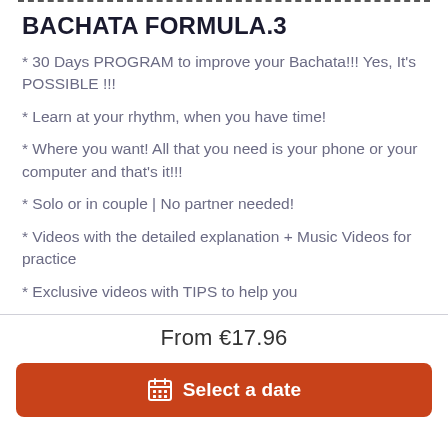BACHATA FORMULA.3
* 30 Days PROGRAM to improve your Bachata!!! Yes, It's POSSIBLE !!!
* Learn at your rhythm, when you have time!
* Where you want! All that you need is your phone or your computer and that's it!!!
* Solo or in couple | No partner needed!
* Videos with the detailed explanation + Music Videos for practice
* Exclusive videos with TIPS to help you
From €17.96
Select a date